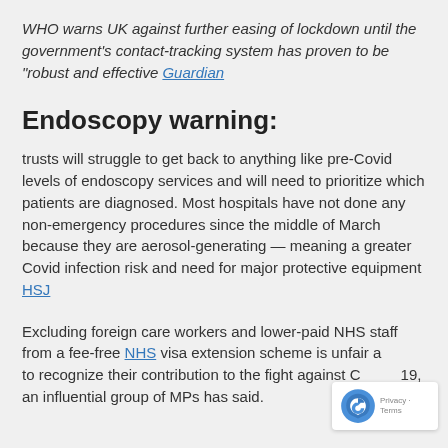WHO warns UK against further easing of lockdown until the government's contact-tracking system has proven to be "robust and effective Guardian
Endoscopy warning:
trusts will struggle to get back to anything like pre-Covid levels of endoscopy services and will need to prioritize which patients are diagnosed. Most hospitals have not done any non-emergency procedures since the middle of March because they are aerosol-generating — meaning a greater Covid infection risk and need for major protective equipment HSJ
Excluding foreign care workers and lower-paid NHS staff from a fee-free NHS visa extension scheme is unfair and fails to recognize their contribution to the fight against Covid-19, an influential group of MPs has said.